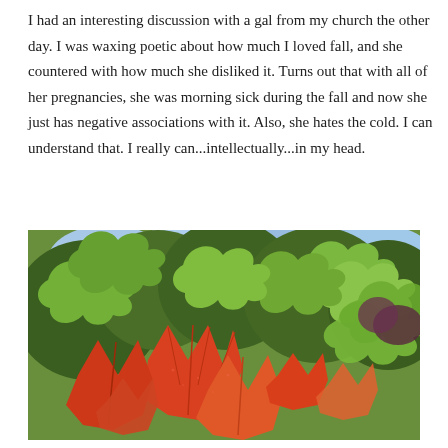I had an interesting discussion with a gal from my church the other day. I was waxing poetic about how much I loved fall, and she countered with how much she disliked it. Turns out that with all of her pregnancies, she was morning sick during the fall and now she just has negative associations with it. Also, she hates the cold. I can understand that. I really can...intellectually...in my head.
[Figure (photo): Close-up photograph of autumn leaves: vibrant red/orange Virginia creeper or maple-like leaves in the foreground, with green leaves and trees in the background. The image captures the contrast between fall foliage and summer greenery.]